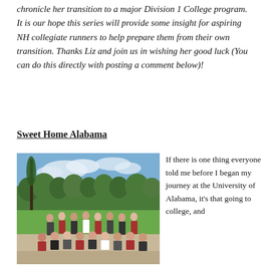chronicle her transition to a major Division 1 College program. It is our hope this series will provide some insight for aspiring NH collegiate runners to help prepare them from their own transition. Thanks Liz and join us in wishing her good luck (You can do this directly with posting a comment below)!
Sweet Home Alabama
[Figure (photo): Group photo of a women's cross country running team posing outdoors on a gravel area with green fields and trees in the background under a partly cloudy sky.]
If there is one thing everyone told me before I began my journey at the University of Alabama, it's that going to college, and